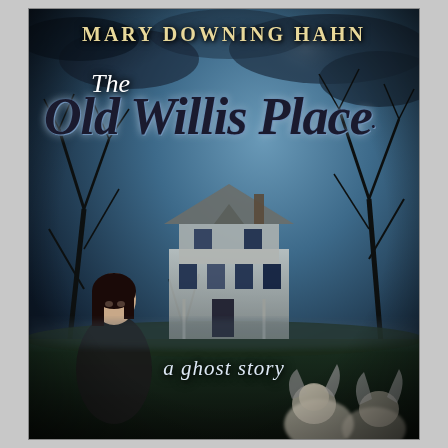[Figure (illustration): Book cover of 'The Old Willis Place: a ghost story' by Mary Downing Hahn. Dark, eerie cover showing a haunted Victorian mansion in the background against a stormy blue-grey sky with bare trees. A dark-haired girl in a dark coat stands in the foreground left. Two ghostly pale figures with disheveled hair appear at the bottom right. The title is rendered in a spooky dripping/gothic font in dark blue/black. The author's name appears at the top in gold/cream serif capitals. The subtitle 'a ghost story' appears in white italic script near the bottom.]